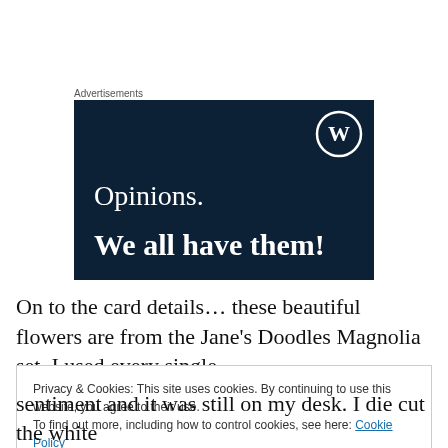Advertisements
[Figure (screenshot): WordPress advertisement banner with dark navy background, WordPress logo (circle W) in top right, text 'Opinions. We all have them!' in white serif font.]
On to the card details… these beautiful flowers are from the Jane's Doodles Magnolia set. I used every single
Privacy & Cookies: This site uses cookies. By continuing to use this website, you agree to their use.
To find out more, including how to control cookies, see here: Cookie Policy
[Close and accept]
sentiment and it was still on my desk. I die cut the white